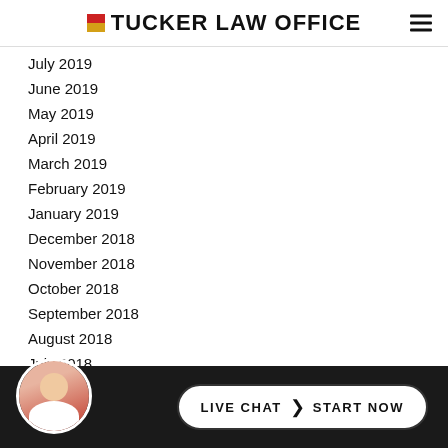TUCKER LAW OFFICE
July 2019
June 2019
May 2019
April 2019
March 2019
February 2019
January 2019
December 2018
November 2018
October 2018
September 2018
August 2018
July 2018
June 2018
May 20…
LIVE CHAT  |  START NOW